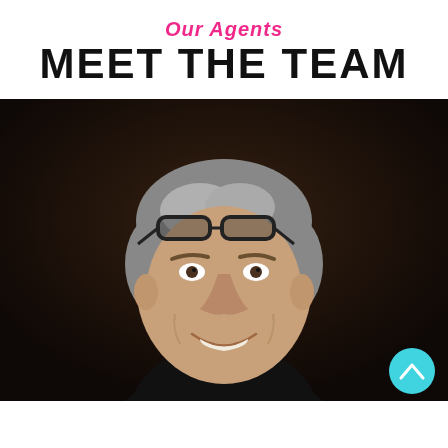Our Agents
MEET THE TEAM
[Figure (photo): Professional headshot of a middle-aged man with gray hair, glasses on top of his head, smiling, wearing a dark shirt, against a dark background. A teal scroll-to-top button is visible in the bottom right corner.]